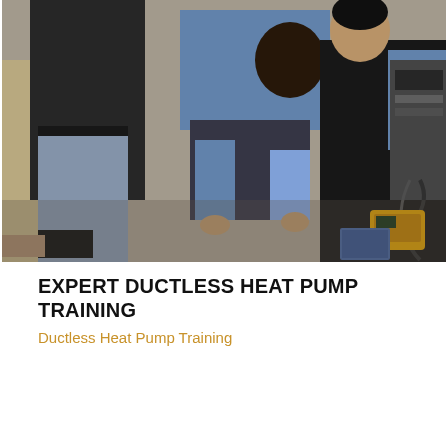[Figure (photo): A training scene showing multiple people crouching and kneeling around HVAC/heat pump equipment on a carpeted floor. One person in a black vest and jeans, another in a light blue shirt, and a third person in a dark jacket, examining or working on equipment. A yellow and black diagnostic device is visible on the floor.]
EXPERT DUCTLESS HEAT PUMP TRAINING
Ductless Heat Pump Training